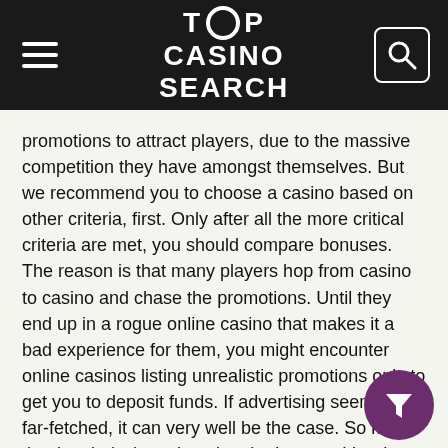TOP CASINO SEARCH
promotions to attract players, due to the massive competition they have amongst themselves. But we recommend you to choose a casino based on other criteria, first. Only after all the more critical criteria are met, you should compare bonuses. The reason is that many players hop from casino to casino and chase the promotions. Until they end up in a rogue online casino that makes it a bad experience for them, you might encounter online casinos listing unrealistic promotions only to get you to deposit funds. If advertising seems too far-fetched, it can very well be the case. So keep that in mind when choosing the best ecoVoucher online casino .
Selection of Games